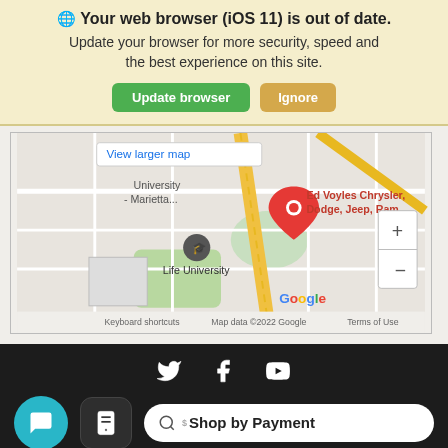🌐 Your web browser (iOS 11) is out of date. Update your browser for more security, speed and the best experience on this site.
Update browser | Ignore
[Figure (map): Google Maps showing Ed Voyles Chrysler, Dodge, Jeep, Ram location near University - Marietta and Life University. Map data ©2022 Google.]
[Figure (screenshot): Dark footer with Twitter, Facebook, YouTube social icons, a teal chat bubble button, a message/saved button, and a Shop by Payment pill button. Accessibility icon in bottom left.]